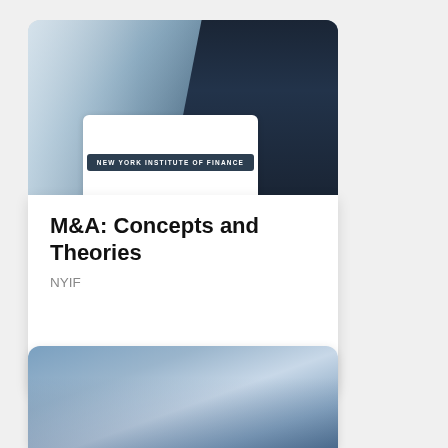[Figure (photo): Course card showing a handshake photo at top, with NYIF (New York Institute of Finance) logo card overlaid. Title: M&A: Concepts and Theories. Provider: NYIF. Type: Course.]
M&A: Concepts and Theories
NYIF
Course
[Figure (photo): Second course card (partially visible) showing a world map with dramatic sky background.]